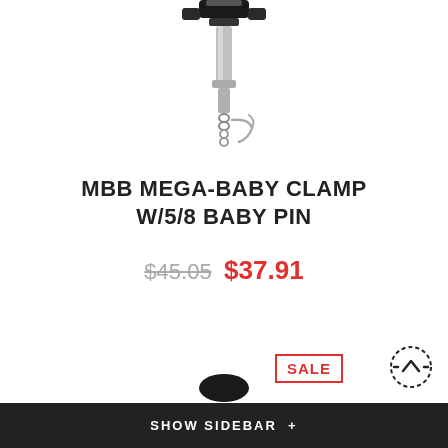[Figure (photo): Product photo of MBB Mega-Baby Clamp with 5/8 Baby Pin — showing a metal clamp/hitch pin on a chain, photographed against white background, partially cropped at top]
MBB MEGA-BABY CLAMP W/5/8 BABY PIN
$45.05  $37.91
SALE
SHOW SIDEBAR +